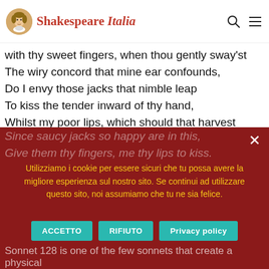Shakespeare Italia
How oft, when thou, my music, music play'st,
ption sounds
with thy sweet fingers, when thou gently sway'st
The wiry concord that mine ear confounds,
Do I envy those jacks that nimble leap
To kiss the tender inward of thy hand,
Whilst my poor lips, which should that harvest reap,
At the wood's boldness by thee blushing stand!
To be so tickled, they would change their state
And situation with those dancing chips,
O'er whom thy fingers walk with gentle gait,
Making dead wood more blest than living lips.
Since saucy jacks so happy are in this,
Give them thy fingers, me thy lips to kiss.
Utilizziamo i cookie per essere sicuri che tu possa avere la migliore esperienza sul nostro sito. Se continui ad utilizzare questo sito, noi assumiamo che tu ne sia felice.
ACCETTO | RIFIUTO | Privacy policy
Sonnet 128 is one of the few sonnets that create a physical